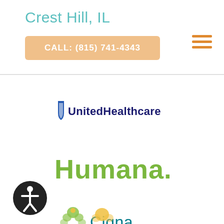Crest Hill, IL
CALL: (815) 741-4343
[Figure (logo): UnitedHealthcare logo with shield icon and dark blue text]
[Figure (logo): Humana logo in green bold text with period]
[Figure (logo): Cigna logo with tree/person icon in green and teal text with period]
[Figure (logo): Accessibility icon — person in circle, dark background]
[Figure (logo): Partial logo visible at bottom of page]